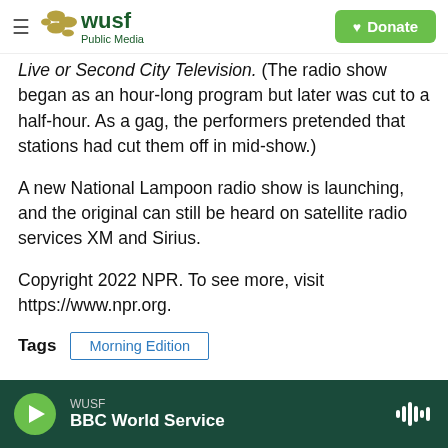WUSF Public Media | Donate
Live or Second City Television. (The radio show began as an hour-long program but later was cut to a half-hour. As a gag, the performers pretended that stations had cut them off in mid-show.)
A new National Lampoon radio show is launching, and the original can still be heard on satellite radio services XM and Sirius.
Copyright 2022 NPR. To see more, visit https://www.npr.org.
Tags   Morning Edition
WUSF | BBC World Service